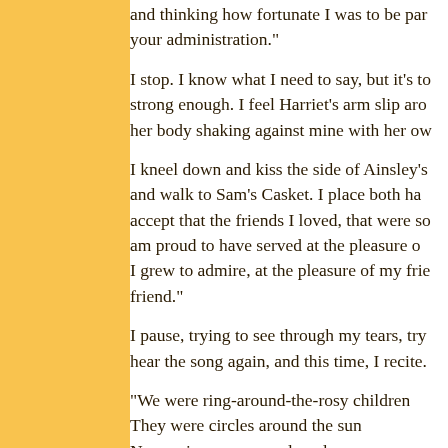and thinking how fortunate I was to be part of your administration."
I stop. I know what I need to say, but it's to strong enough. I feel Harriet's arm slip aro her body shaking against mine with her ow
I kneel down and kiss the side of Ainsley's and walk to Sam's Casket. I place both ha accept that the friends I loved, that were s am proud to have served at the pleasure o I grew to admire, at the pleasure of my frie friend."
I pause, trying to see through my tears, try hear the song again, and this time, I recite.
"We were ring-around-the-rosy children
They were circles around the sun
Never give up, never slow down
Never grow old, never ever die young

Synchronized with the rising moon
Even with the evening star
They were true love written in stone
They were true love written in stone